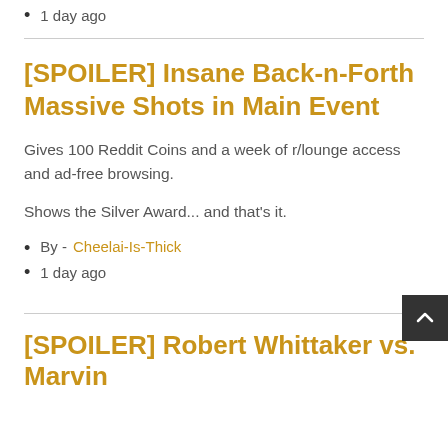1 day ago
[SPOILER] Insane Back-n-Forth Massive Shots in Main Event
Gives 100 Reddit Coins and a week of r/lounge access and ad-free browsing.
Shows the Silver Award... and that's it.
By - Cheelai-Is-Thick
1 day ago
[SPOILER] Robert Whittaker vs. Marvin